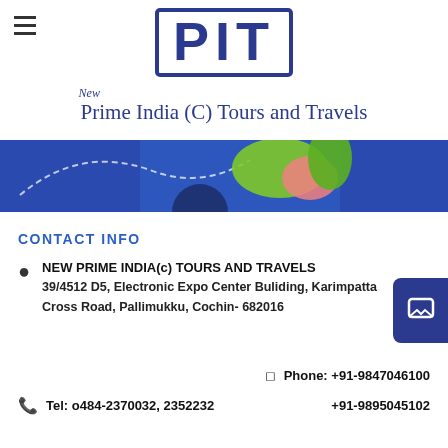PIT
New Prime India (C) Tours and Travels
[Figure (photo): Banner image with colorful travel/tourism visuals on blue background]
CONTACT INFO
NEW PRIME INDIA(c) TOURS AND TRAVELS
39/4512 D5, Electronic Expo Center Buliding, Karimpatta Cross Road, Pallimukku, Cochin- 682016
Phone: +91-9847046100
+91-9895045102
Tel: o484-2370032, 2352232